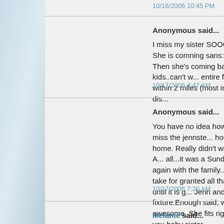10/16/2006 10:45 PM
Anonymous said...
I miss my sister SOOOO much. She is comning sans... can't wait. Then she's coming back with kids..can't w... entire family lives within 2 miles (most in walking dis...
10/17/2006 4:47 AM
Anonymous said...
You have no idea how much we all miss the jennste... hour on the ride home. Really didn't want to leave. A... all...it was a Sunday afternoon again with the family... that you take for granted all that you have until it is g... Jenn and Blake was a fixture.Enough said, we miss ... awesome. She fits right in. Love you baby sister.
10/17/2006 7:20 AM
Melanie said...